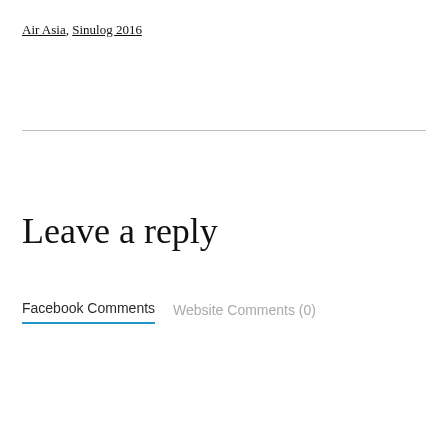Air Asia, Sinulog 2016
Leave a reply
Facebook Comments	Website Comments (0)